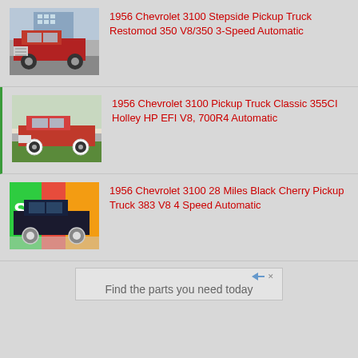[Figure (photo): 1956 Chevrolet 3100 red pickup truck, front-side view, parked near building with construction equipment in background]
1956 Chevrolet 3100 Stepside Pickup Truck Restomod 350 V8/350 3-Speed Automatic
[Figure (photo): 1956 Chevrolet 3100 red pickup truck classic, side view on grassy area]
1956 Chevrolet 3100 Pickup Truck Classic 355CI Holley HP EFI V8, 700R4 Automatic
[Figure (photo): 1956 Chevrolet 3100 black cherry pickup truck, front-angled view in colorful venue]
1956 Chevrolet 3100 28 Miles Black Cherry Pickup Truck 383 V8 4 Speed Automatic
Find the parts you need today